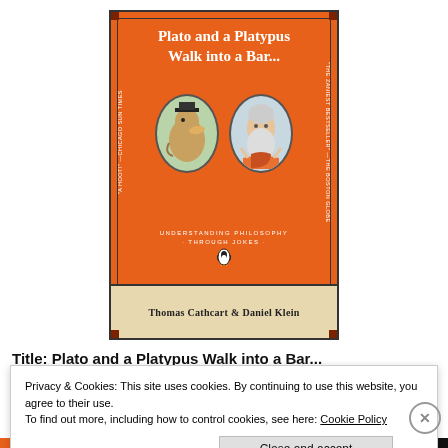[Figure (illustration): Book cover of 'Plato and a Platypus Walk into a Bar...' by Thomas Cathcart & Daniel Klein. Orange background with two oval illustrations — a platypus and Plato. Subtitle: Understanding Philosophy Through Jokes. Penguin Books logo. Author band at bottom.]
Title: Plato and a Platypus Walk into a Bar...
Privacy & Cookies: This site uses cookies. By continuing to use this website, you agree to their use. To find out more, including how to control cookies, see here: Cookie Policy
Close and accept